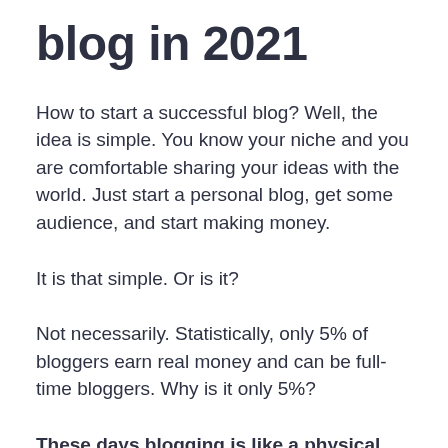blog in 2021
How to start a successful blog? Well, the idea is simple. You know your niche and you are comfortable sharing your ideas with the world. Just start a personal blog, get some audience, and start making money.
It is that simple. Or is it?
Not necessarily. Statistically, only 5% of bloggers earn real money and can be full-time bloggers. Why is it only 5%?
These days blogging is like a physical business. You have to take it seriously and when